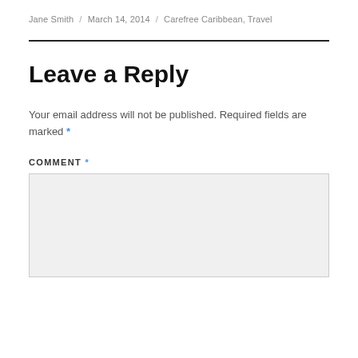Jane Smith / March 14, 2014 / Carefree Caribbean, Travel
Leave a Reply
Your email address will not be published. Required fields are marked *
COMMENT *
[Figure (other): Empty comment text area input box with light gray background]